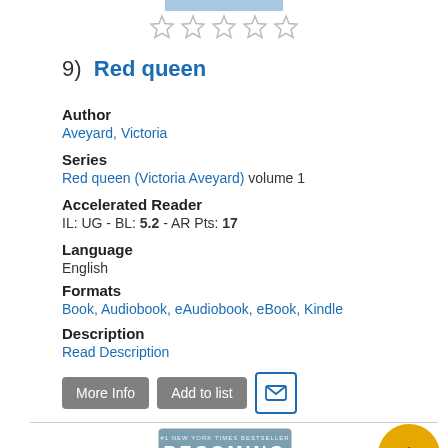[Figure (illustration): Book cover thumbnail at top, partially shown]
[Figure (illustration): Five empty/unfilled star rating icons]
9)  Red queen
Author
Aveyard, Victoria
Series
Red queen (Victoria Aveyard) volume 1
Accelerated Reader
IL: UG - BL: 5.2 - AR Pts: 17
Language
English
Formats
Book, Audiobook, eAudiobook, eBook, Kindle
Description
Read Description
[Figure (illustration): More Info and Add to list gray buttons, and email icon button]
[Figure (illustration): Becoming book cover by Michelle Obama - #1 New York Times Bestseller]
[Figure (illustration): Orange circular scroll-to-top button with upward arrow]